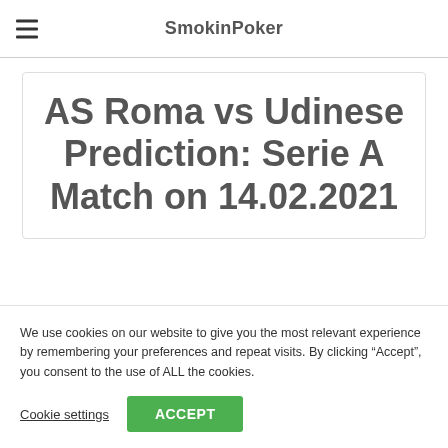SmokinPoker
AS Roma vs Udinese Prediction: Serie A Match on 14.02.2021
We use cookies on our website to give you the most relevant experience by remembering your preferences and repeat visits. By clicking “Accept”, you consent to the use of ALL the cookies.
Cookie settings | ACCEPT